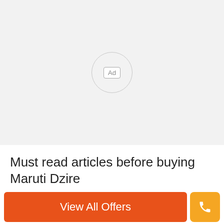[Figure (other): Advertisement placeholder area with a circular badge containing the text 'Ad']
Must read articles before buying Maruti Dzire
View All Offers